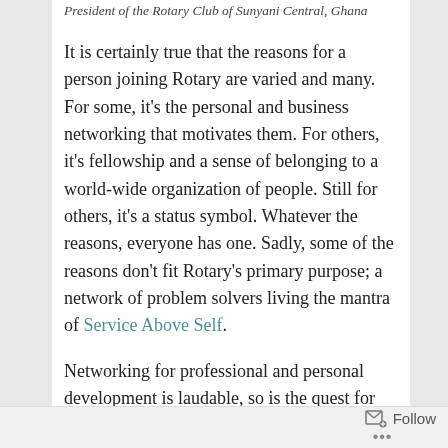President of the Rotary Club of Sunyani Central, Ghana
It is certainly true that the reasons for a person joining Rotary are varied and many. For some, it's the personal and business networking that motivates them. For others, it's fellowship and a sense of belonging to a world-wide organization of people. Still for others, it's a status symbol. Whatever the reasons, everyone has one. Sadly, some of the reasons don't fit Rotary's primary purpose; a network of problem solvers living the mantra of Service Above Self.
Networking for professional and personal development is laudable, so is the quest for social recognition through association with entities that have an impact, and so is an opportunity to travel around the world to Rotary events. My fear is that the essence and core responsibility of being a Rotarian is being lost on many around the world, at least from my club.
Follow